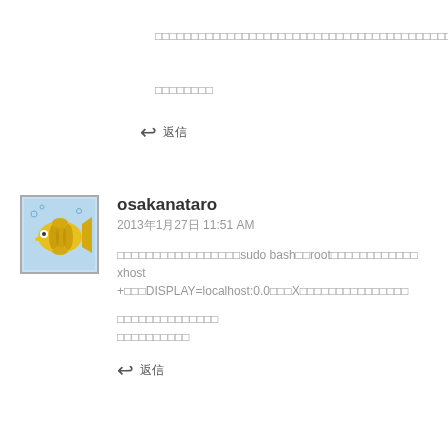□□□□□□□□□□□□□□□□□□□□□□□□□□□□□□□□□□□□□□□□□□□□□□□□□□□□□□□□□□□□□□□□□□□□□□□□□□□□□□□□□□□□□□□□□□□
□□□□□□□□
↩ 返信
osakanataro
2013年1月27日 11:51 AM
□□□□□□□□□□□□□□□□□sudo bash□□root□□□□□□□□□□□□
xhost +□□□DISPLAY=localhost:0.0□□□X□□□□□□□□□□□□□□□
□□□□□□□□□□□□□□
□□□□□□□□□□
↩ 返信